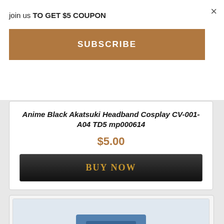join us TO GET $5 COUPON
×
SUBSCRIBE
Anime Black Akatsuki Headband Cosplay CV-001-A04 TD5 mp000614
$5.00
BUY NOW
[Figure (photo): Partially visible product card at bottom showing a blue item on white background]